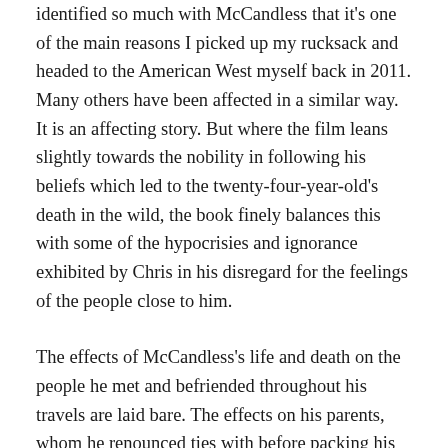identified so much with McCandless that it's one of the main reasons I picked up my rucksack and headed to the American West myself back in 2011. Many others have been affected in a similar way. It is an affecting story. But where the film leans slightly towards the nobility in following his beliefs which led to the twenty-four-year-old's death in the wild, the book finely balances this with some of the hypocrisies and ignorance exhibited by Chris in his disregard for the feelings of the people close to him.
The effects of McCandless's life and death on the people he met and befriended throughout his travels are laid bare. The effects on his parents, whom he renounced ties with before packing his rucksack and